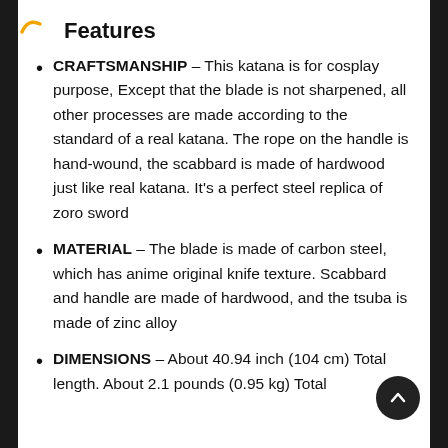Features
CRAFTSMANSHIP - This katana is for cosplay purpose, Except that the blade is not sharpened, all other processes are made according to the standard of a real katana. The rope on the handle is hand-wound, the scabbard is made of hardwood just like real katana. It's a perfect steel replica of zoro sword
MATERIAL - The blade is made of carbon steel, which has anime original knife texture. Scabbard and handle are made of hardwood, and the tsuba is made of zinc alloy
DIMENSIONS - About 40.94 inch (104 cm) Total length. About 2.1 pounds (0.95 kg) Total